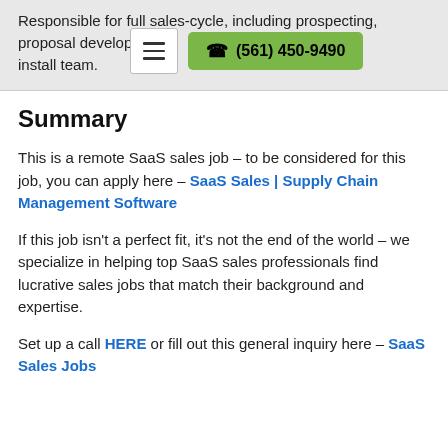Responsible for full sales-cycle, including prospecting, proposal development and handoffs to the install team.
Summary
This is a remote SaaS sales job – to be considered for this job, you can apply here – SaaS Sales | Supply Chain Management Software
If this job isn't a perfect fit, it's not the end of the world – we specialize in helping top SaaS sales professionals find lucrative sales jobs that match their background and expertise.
Set up a call HERE or fill out this general inquiry here – SaaS Sales Jobs